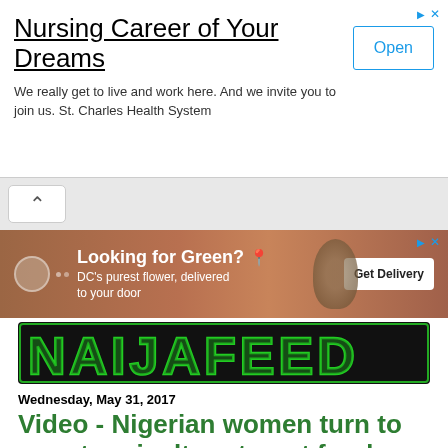[Figure (other): Advertisement banner: Nursing Career of Your Dreams with Open button. St. Charles Health System ad.]
[Figure (other): Navigation bar with back/up chevron button]
[Figure (other): Advertisement: Looking for Green? DC's purest flower, delivered to your door. Get Delivery button.]
[Figure (logo): NAIJAFEED logo in green neon-style letters on black background]
Wednesday, May 31, 2017
Video - Nigerian women turn to smart agriculture to put food on the table
[Figure (screenshot): Video thumbnail showing CGTN Africa logo and 'Women turn to s...' text with a woman's face visible]